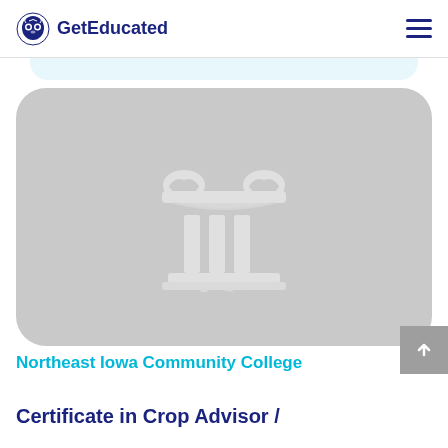GetEducated
[Figure (illustration): Gray rounded card with a white classical column/pillar icon in the center, representing an educational institution placeholder image]
Northeast Iowa Community College
Certificate in Crop Advisor /